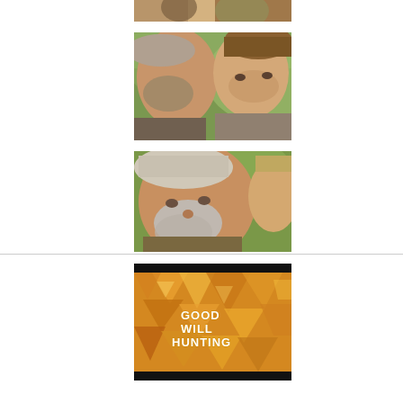[Figure (photo): Partial cropped photo from a film scene, showing the top portion of two people outdoors with blurred background]
[Figure (photo): Film still showing two men in close-up: an older bearded man in a cap on the left and a younger man (Matt Damon) on the right, both looking downward, outdoor setting with greenery]
[Figure (photo): Film still showing an older bearded man in a grey cap on the left foreground and a younger person partially visible on the right, both looking at something off-screen]
[Figure (photo): Movie title card for 'Good Will Hunting' with bold white pixelated text on a golden/amber abstract geometric background with black border at top and bottom]